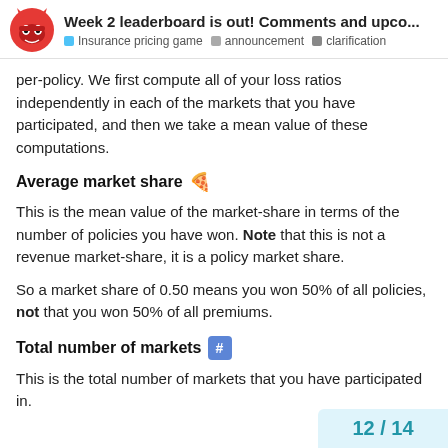Week 2 leaderboard is out! Comments and upco... | Insurance pricing game · announcement · clarification
per-policy. We first compute all of your loss ratios independently in each of the markets that you have participated, and then we take a mean value of these computations.
Average market share 🍕
This is the mean value of the market-share in terms of the number of policies you have won. Note that this is not a revenue market-share, it is a policy market share.
So a market share of 0.50 means you won 50% of all policies, not that you won 50% of all premiums.
Total number of markets 🔢
This is the total number of markets that you have participated in.
12 / 14